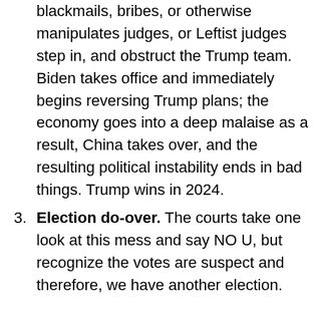blackmails, bribes, or otherwise manipulates judges, or Leftist judges step in, and obstruct the Trump team. Biden takes office and immediately begins reversing Trump plans; the economy goes into a deep malaise as a result, China takes over, and the resulting political instability ends in bad things. Trump wins in 2024.
Election do-over. The courts take one look at this mess and say NO U, but recognize the votes are suspect and therefore, we have another election.